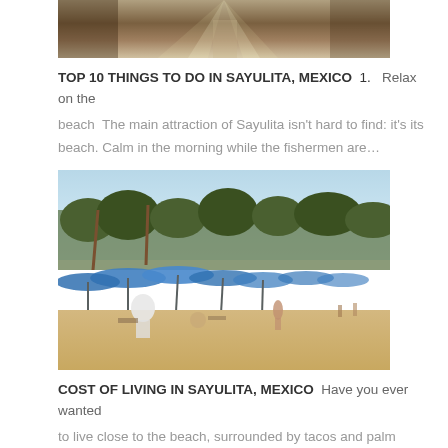[Figure (photo): Partial view of a dirt road or path with sun rays, seen from top of page]
TOP 10 THINGS TO DO IN SAYULITA, MEXICO 1.   Relax on the beach The main attraction of Sayulita isn't hard to find: it's its beach. Calm in the morning while the fishermen are...
[Figure (photo): Beach scene in Sayulita with blue beach umbrellas, palm trees, sandy beach, and people]
COST OF LIVING IN SAYULITA, MEXICO Have you ever wanted to live close to the beach, surrounded by tacos and palm trees? Then Sayulita is for you. An hour outside of...
[Figure (photo): Sunset over the ocean with dark silhouetted water in foreground and orange/yellow sky]